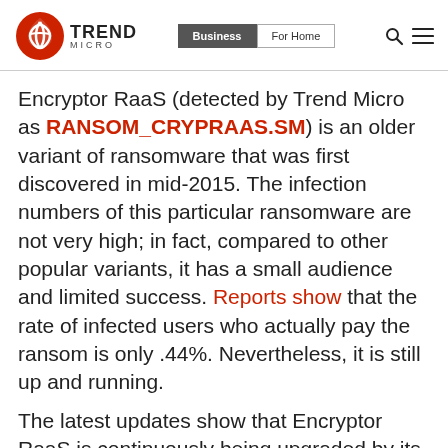Trend Micro | Business | For Home
Encryptor RaaS (detected by Trend Micro as RANSOM_CRYPRAAS.SM) is an older variant of ransomware that was first discovered in mid-2015. The infection numbers of this particular ransomware are not very high; in fact, compared to other popular variants, it has a small audience and limited success. Reports show that the rate of infected users who actually pay the ransom is only .44%. Nevertheless, it is still up and running.
The latest updates show that Encryptor RaaS is continuously being upgraded by its authors